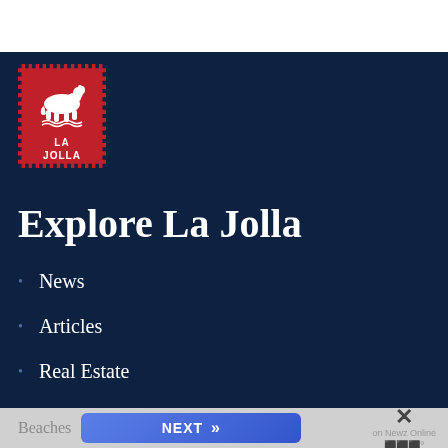[Figure (logo): La Jolla stamp logo: red postage stamp shape with white dog silhouette and text LA JOLLA]
Explore La Jolla
News
Articles
Real Estate
Attractions
Beaches  NEXT >>  on Newz Online